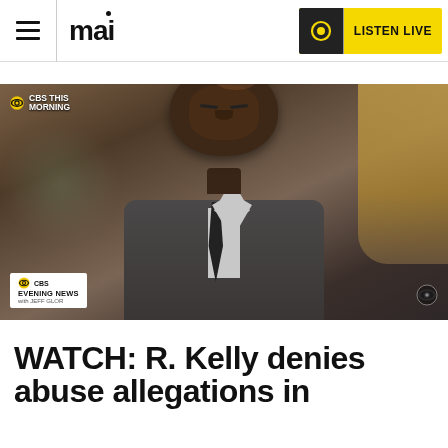mai — LISTEN LIVE
[Figure (screenshot): Screenshot of a CBS News interview showing a man in a suit with eyes closed, with CBS This Morning logo in the top left and CBS Evening News lower-third graphic at the bottom left]
WATCH: R. Kelly denies abuse allegations in